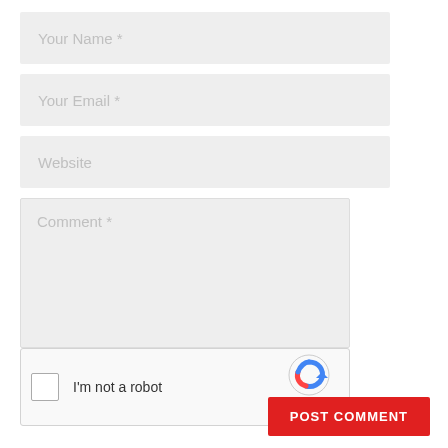[Figure (screenshot): Web comment form with fields for Your Name, Your Email, Website, Comment, a reCAPTCHA widget, and a POST COMMENT button.]
Your Name *
Your Email *
Website
Comment *
I'm not a robot
reCAPTCHA
Privacy · Terms
POST COMMENT